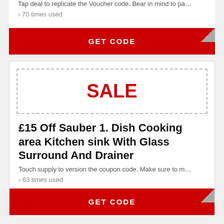Tap deal to replicate the Voucher code. Bear in mind to pa…
› 70 times used
[Figure (other): GET CODE button in red with folded corner]
[Figure (other): SALE badge in dashed border box]
£15 Off Sauber 1. Dish Cooking area Kitchen sink With Glass Surround And Drainer
Touch supply to version the coupon code. Make sure to m…
› 63 times used
[Figure (other): GET CODE button in red with folded corner]